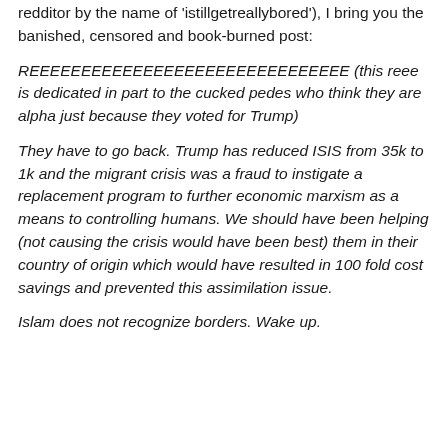redditor by the name of 'istillgetreallybored'), I bring you the banished, censored and book-burned post:
REEEEEEEEEEEEEEEEEEEEEEEEEEEEEEE (this reee is dedicated in part to the cucked pedes who think they are alpha just because they voted for Trump)
They have to go back. Trump has reduced ISIS from 35k to 1k and the migrant crisis was a fraud to instigate a replacement program to further economic marxism as a means to controlling humans. We should have been helping (not causing the crisis would have been best) them in their country of origin which would have resulted in 100 fold cost savings and prevented this assimilation issue.
Islam does not recognize borders. Wake up.